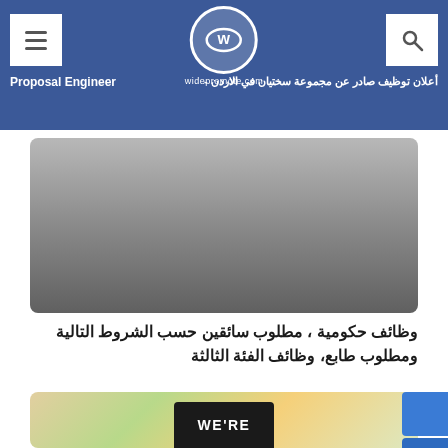widepromote.com — أعلان توظيف صادر عن مجموعة سختيان في الاردن - Proposal Engineer
[Figure (photo): Blurred/gradient placeholder image for an article about government jobs and drivers]
وظائف حكومية ، مطلوب سائقين حسب الشروط التالية ومطلوب طابع، وظائف الفئة الثالثة
[Figure (photo): Partial blurred photo with a tablet showing WE'RE text, colorful background with pencils]